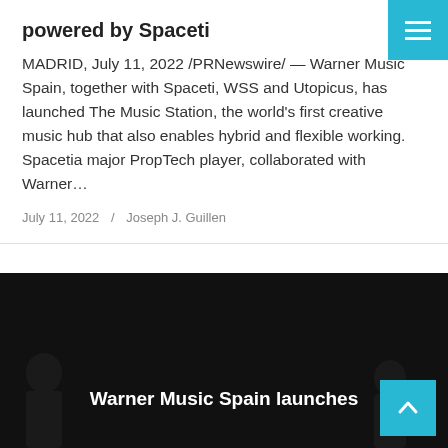Menu button
powered by Spaceti
MADRID, July 11, 2022 /PRNewswire/ — Warner Music Spain, together with Spaceti, WSS and Utopicus, has launched The Music Station, the world's first creative music hub that also enables hybrid and flexible working. Spacetia major PropTech player, collaborated with Warner…
July 11, 2022 / Joseph J. Guillen
[Figure (photo): Dark background image with text 'Warner Music Spain launches' in white bold text at the bottom center, with silhouette figures visible at the bottom left and right corners. A cyan back-to-top button with an upward arrow is in the bottom right.]